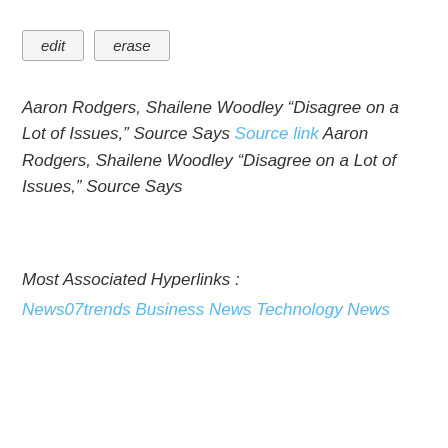edit
erase
Aaron Rodgers, Shailene Woodley “Disagree on a Lot of Issues,” Source Says Source link Aaron Rodgers, Shailene Woodley “Disagree on a Lot of Issues,” Source Says
Most Associated Hyperlinks :
News07trends Business News Technology News